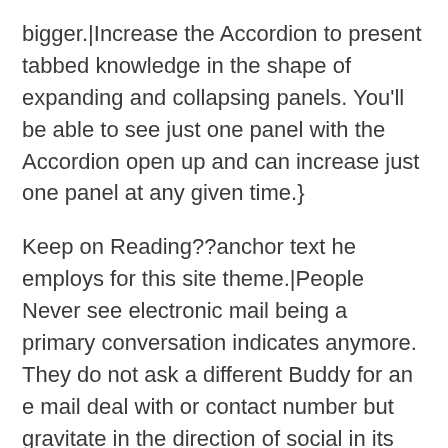bigger.|Increase the Accordion to present tabbed knowledge in the shape of expanding and collapsing panels. You'll be able to see just one panel with the Accordion open up and can increase just one panel at any given time.}
Keep on Reading??anchor text he employs for this site theme.|People Never see electronic mail being a primary conversation indicates anymore. They do not ask a different Buddy for an e mail deal with or contact number but gravitate in the direction of social in its place. You'll be able to talk to how do job managers make your website layout and should my website be up-to-date? Services we offer for that award-winning web design initiatives we've developed will now not need you deal with their work, so feel free to Get hold of us today.|Then, we'd alter the verb "compose" into the